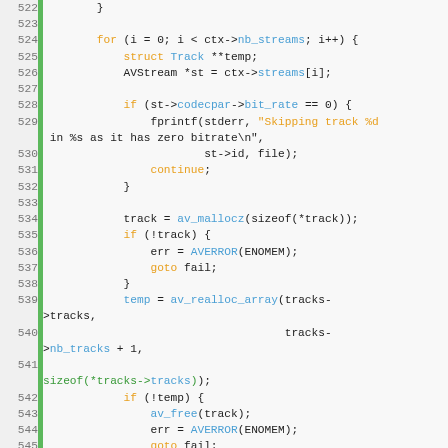[Figure (screenshot): Source code listing in C showing lines 522-551 of a media file handling function, with syntax highlighting: orange keywords (for, if, continue, goto, struct), cyan/blue function names and struct members, green identifiers, on a light gray background with green gutter bar and line numbers.]